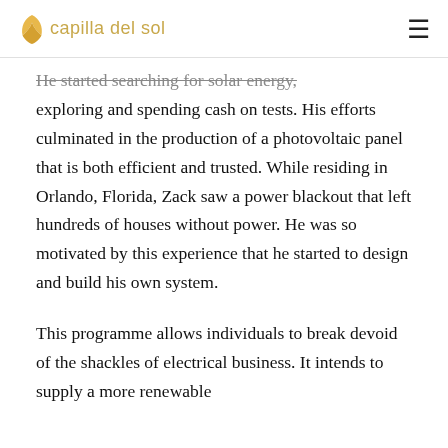capilla del sol
He started searching for solar energy, exploring and spending cash on tests. His efforts culminated in the production of a photovoltaic panel that is both efficient and trusted. While residing in Orlando, Florida, Zack saw a power blackout that left hundreds of houses without power. He was so motivated by this experience that he started to design and build his own system.

This programme allows individuals to break devoid of the shackles of electrical business. It intends to supply a more renewable